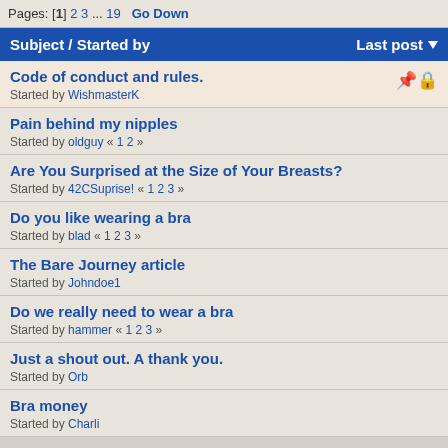Pages: [1] 2 3 ... 19  Go Down
Subject / Started by   Last post
Code of conduct and rules.
Started by WishmasterK
Pain behind my nipples
Started by oldguy « 1 2 »
Are You Surprised at the Size of Your Breasts?
Started by 42CSuprise! « 1 2 3 »
Do you like wearing a bra
Started by blad « 1 2 3 »
The Bare Journey article
Started by Johndoe1
Do we really need to wear a bra
Started by hammer « 1 2 3 »
Just a shout out. A thank you.
Started by Orb
Bra money
Started by Charli